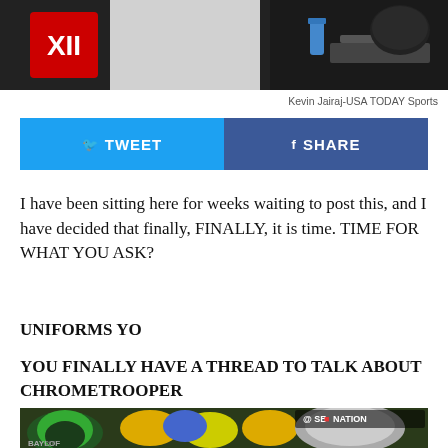[Figure (photo): Dark photo showing Big 12 logo and a person in a white shirt with sports equipment in background]
Kevin Jairaj-USA TODAY Sports
[Figure (infographic): Social share buttons: Tweet (light blue) and Share (dark blue)]
I have been sitting here for weeks waiting to post this, and I have decided that finally, FINALLY, it is time. TIME FOR WHAT YOU ASK?
UNIFORMS YO
YOU FINALLY HAVE A THREAD TO TALK ABOUT CHROMETROOPER
[Figure (photo): Photo of football players wearing colorful helmets including green, yellow, and blue, with SB Nation watermark]